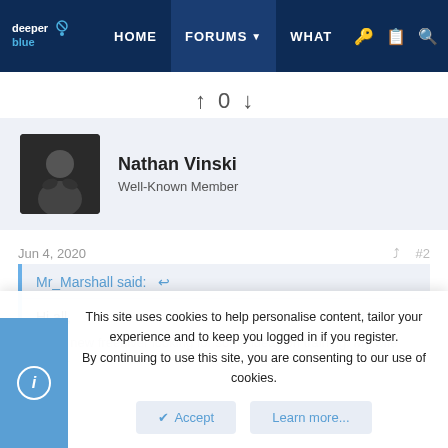deeper blue | HOME | FORUMS | WHAT
↑ 0 ↓
Nathan Vinski
Well-Known Member
Jun 4, 2020   #2
Mr_Marshall said: ↩

Hi all,

I've a new freediver looking for some ideas on training. My wife said...
This site uses cookies to help personalise content, tailor your experience and to keep you logged in if you register.
By continuing to use this site, you are consenting to our use of cookies.
Accept   Learn more...